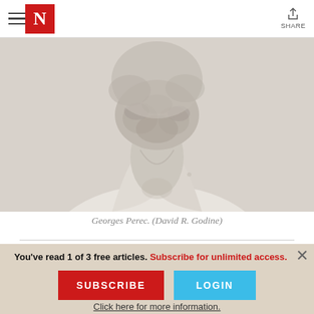N [The Nation logo] | SHARE
[Figure (photo): Close-up black and white photograph of a bearded man's neck and chest, wearing an open-collar light shirt. Only the lower face/beard, neck, and upper chest are visible.]
Georges Perec. (David R. Godine)
You've read 1 of 3 free articles. Subscribe for unlimited access.
SUBSCRIBE
LOGIN
Click here for more information.